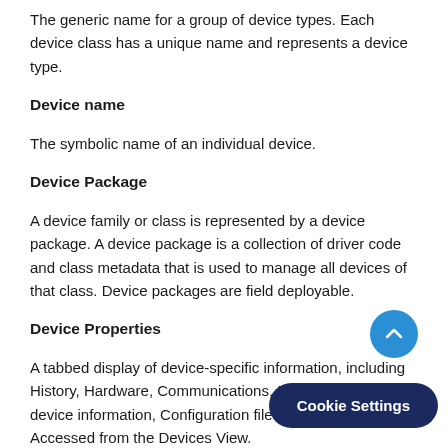The generic name for a group of device types. Each device class has a unique name and represents a device type.
Device name
The symbolic name of an individual device.
Device Package
A device family or class is represented by a device package. A device package is a collection of driver code and class metadata that is used to manage all devices of that class. Device packages are field deployable.
Device Properties
A tabbed display of device-specific information, including History, Hardware, Communications, Interfaces, General device information, Configuration files, and more. Accessed from the Devices View.
Device Search
The Global Device Search feature all…